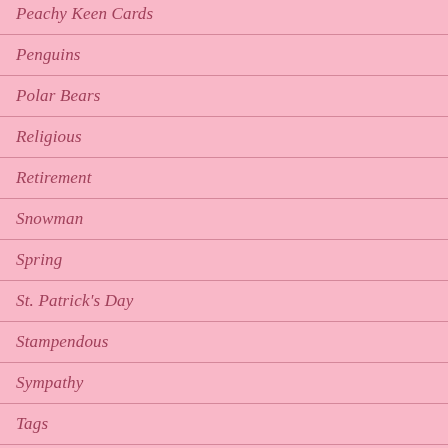Peachy Keen Cards
Penguins
Polar Bears
Religious
Retirement
Snowman
Spring
St. Patrick's Day
Stampendous
Sympathy
Tags
Thank You